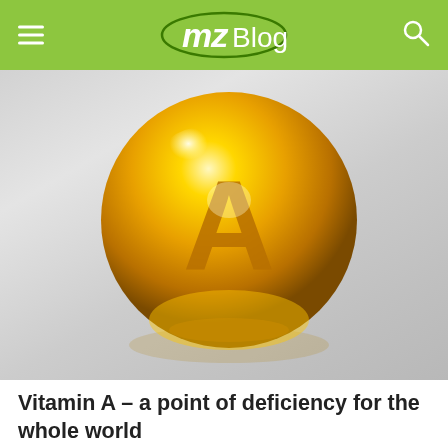mzBlog
[Figure (illustration): A golden glowing vitamin A supplement capsule drop with the letter A displayed on it, set against a light grey gradient background.]
Vitamin A – a point of deficiency for the whole world